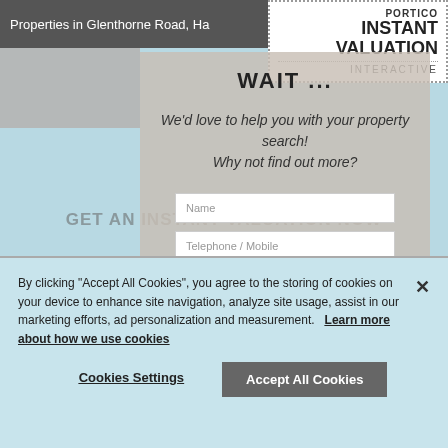Properties in Glenthorne Road, Ha...
PORTICO
INSTANT VALUATION
INTERACTIVE
WAIT ...
We'd love to help you with your property search!
Why not find out more?
GET AN INSTANT VALUATION NOW
We already know how much your rental property is worth. Type your postcode to find out and get an online valuation within 60 seconds.
Name
Telephone / Mobile
By clicking “Accept All Cookies”, you agree to the storing of cookies on your device to enhance site navigation, analyze site usage, assist in our marketing efforts, ad personalization and measurement.   Learn more about how we use cookies
Cookies Settings
Accept All Cookies